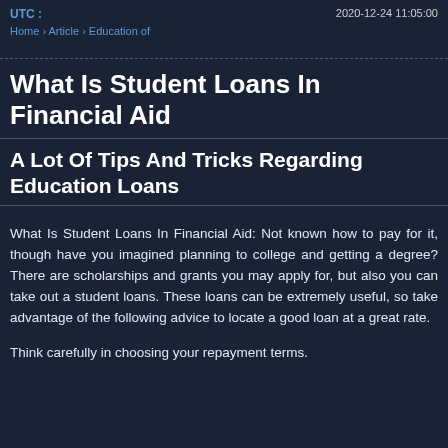UTC :    2020-12-24 11:05:00
Home › Article › Education of ...
What Is Student Loans In Financial Aid
A Lot Of Tips And Tricks Regarding Education Loans
What Is Student Loans In Financial Aid: Not known how to pay for it, though have you imagined planning to college and getting a degree? There are scholarships and grants you may apply for, but also you can take out a student loans. These loans can be extremely useful, so take advantage of the following advice to locate a good loan at a great rate.
Think carefully in choosing your repayment terms.